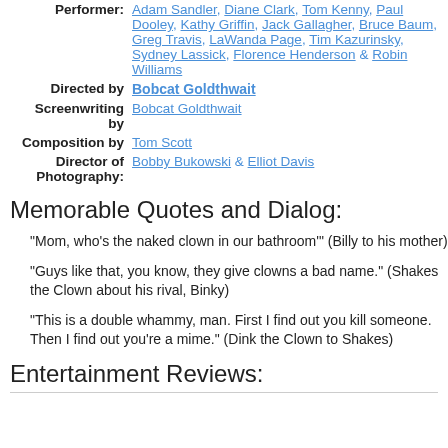Performer: Adam Sandler, Diane Clark, Tom Kenny, Paul Dooley, Kathy Griffin, Jack Gallagher, Bruce Baum, Greg Travis, LaWanda Page, Tim Kazurinsky, Sydney Lassick, Florence Henderson & Robin Williams
Directed by Bobcat Goldthwait
Screenwriting by Bobcat Goldthwait
Composition by Tom Scott
Director of Photography: Bobby Bukowski & Elliot Davis
Memorable Quotes and Dialog:
"Mom, who's the naked clown in our bathroom'" (Billy to his mother)
"Guys like that, you know, they give clowns a bad name." (Shakes the Clown about his rival, Binky)
"This is a double whammy, man. First I find out you kill someone. Then I find out you're a mime." (Dink the Clown to Shakes)
Entertainment Reviews: